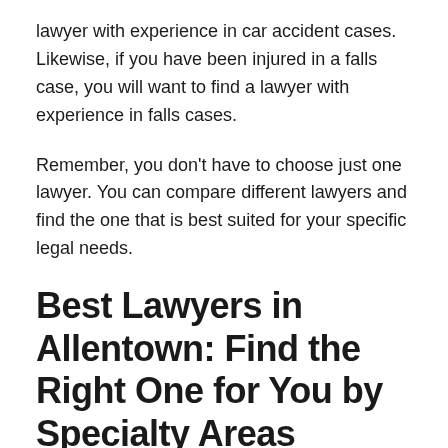lawyer with experience in car accident cases. Likewise, if you have been injured in a falls case, you will want to find a lawyer with experience in falls cases.
Remember, you don't have to choose just one lawyer. You can compare different lawyers and find the one that is best suited for your specific legal needs.
Best Lawyers in Allentown: Find the Right One for You by Specialty Areas
Are you in need of a lawyer in Allentown? If so, you're in luck, as there are many lawyer options available to you. In this blog post, we'll discuss some of the best lawyers in Allentown based on their specialization.